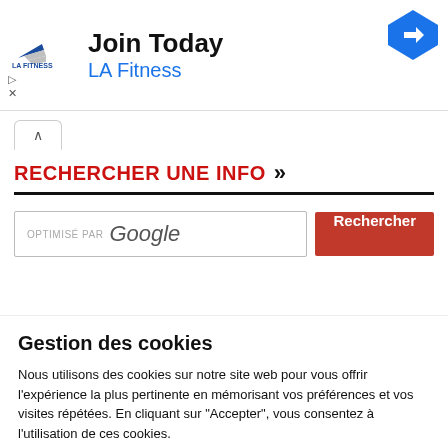[Figure (screenshot): LA Fitness advertisement banner with logo, 'Join Today' text, and blue navigation arrow icon]
RECHERCHER UNE INFO »
[Figure (screenshot): Search box with 'OPTIMISÉ PAR Google' text and red 'Rechercher' button]
Gestion des cookies
Nous utilisons des cookies sur notre site web pour vous offrir l'expérience la plus pertinente en mémorisant vos préférences et vos visites répétées. En cliquant sur "Accepter", vous consentez à l'utilisation de ces cookies.
Cookie settings
ACCEPTER